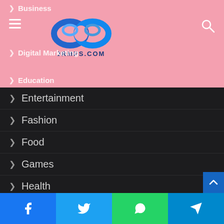[Figure (logo): JRMPS.COM logo — blue swirling infinity-like graphic with the text JRMPS.COM beneath it]
Business
Digital Marketing
Education
Entertainment
Fashion
Food
Games
Health
Home
Law
Lifestyle
News
Social Media